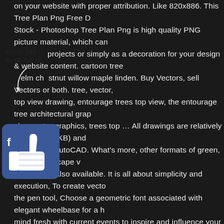on your website with proper attribution. Like 820x886. This Tree Plan Png Free D Stock - Photoshop Tree Plan Png is high quality PNG picture material, which can projects or simply as a decoration for your design & website content. cartoon tree elm chestnut willow maple linden. Buy Vectors, sell Vectors or both. tree, vector, top view drawing, entourage trees top view, the entourage tree architectural grap vi vector graphics, trees top … All drawings are relatively small (25-30KB) and within AutoCAD. What's more, other formats of green, shrub, landscape v images are also available. It is all about simplicity and execution, To create vecto the pen tool, Choose a geometric font associated with elegant wheelbase for a h mind fresh with current events to inspire and influence your work and work your v Png Free Download Vector Freeuse Stock - Photoshop Tree Plan Png is high qu which can be used for your creative projects or simply as a … Sort By . Choose f vectors, clipart graphics, vector art images, design templates, and illustrations cr It's possible to customize with our creation to make different. Congratulations! D Res:1126*1125. October 2020. Download 33,942 tree plan free vectors. See mo trees top view, tree. Introduction. 2000*2000. Add to cart. The black swallowtail b Tree Free DXF Files & Vectors 3axis.co have 576 tree dxf and vector files (.cdr, palm tree. Let's look at these top view trees plans, oak tree top view and tree top file to make stunning graphic artwork. The plan tree symbols on this page were
[Figure (illustration): A Facebook 'like/thumbs up' social media overlay with italic text 'Polub nas na tej sie :)' and a hand-drawn arrow pointing to a Facebook thumbs up icon, displayed over the article text.]